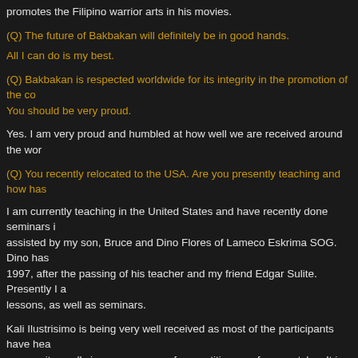my brother Hennie is an actor, director and has a production company. Where promotes the Filipino warrior arts in his movies.
(Q) The future of Bakbakan will definitely be in good hands.
All I can do is my best.
(Q) Bakbakan is respected worldwide for its integrity in the promotion of the co You should be very proud.
Yes. I am very proud and humbled at how well we are received around the wor
(Q) You recently relocated to the USA. Are you presently teaching and how has
I am currently teaching in the United States and have recently done seminars i assisted by my son, Bruce and Dino Flores of Lameco Eskrima SOG. Dino has 1997, after the passing of his teacher and my friend Edgar Sulite. Presently I a lessons, as well as seminars.
Kali Ilustrisimo is being very well received as most of the participants have hea person, it usually is an eye-opener for practitioners of many styles. It is especia have “supposedly” been learning Kali Ilustrisimo.
(Q) When I was training under you in the Philippines, you stressed you only tea hold true?
Yes.
(Q) Do you teach Lameco Eskrima and/or Bakbakan Kali (Ilustrisimo)?